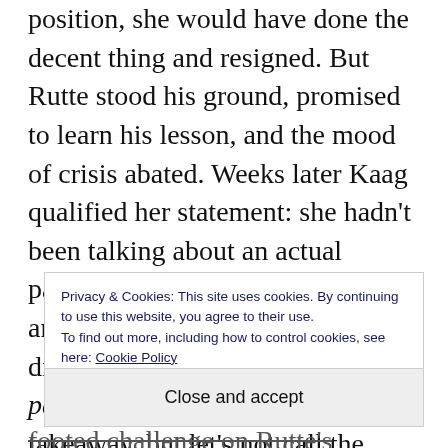position, she would have done the decent thing and resigned. But Rutte stood his ground, promised to learn his lesson, and the mood of crisis abated. Weeks later Kaag qualified her statement: she hadn't been talking about an actual parting of the ways, but that she and Rutte approached things from different perspectives. You say patat, I say four-course Thai takeaway, but let's not call the whole thing o...
Privacy & Cookies: This site uses cookies. By continuing to use this website, you agree to their use. To find out more, including how to control cookies, see here: Cookie Policy
Close and accept
footed challenge on Rutte's managerial style.